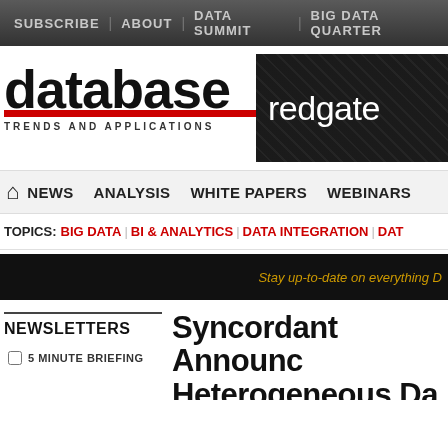SUBSCRIBE | ABOUT | DATA SUMMIT | BIG DATA QUARTER
[Figure (logo): Database Trends and Applications logo with red underline, and Redgate dark banner with faces]
NEWS | ANALYSIS | WHITE PAPERS | WEBINARS
TOPICS: BIG DATA | BI & ANALYTICS | DATA INTEGRATION | DAT
Stay up-to-date on everything D
NEWSLETTERS
5 MINUTE BRIEFING
Syncordant Announc Heterogeneous Da